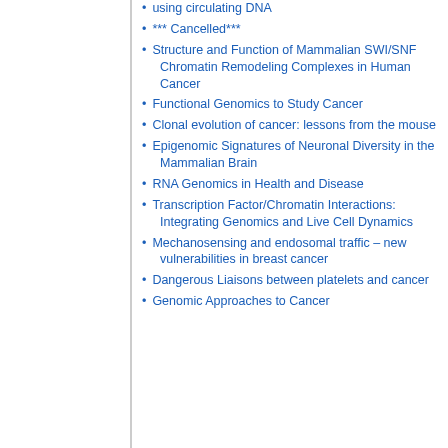using circulating DNA
*** Cancelled***
Structure and Function of Mammalian SWI/SNF Chromatin Remodeling Complexes in Human Cancer
Functional Genomics to Study Cancer
Clonal evolution of cancer: lessons from the mouse
Epigenomic Signatures of Neuronal Diversity in the Mammalian Brain
RNA Genomics in Health and Disease
Transcription Factor/Chromatin Interactions: Integrating Genomics and Live Cell Dynamics
Mechanosensing and endosomal traffic – new vulnerabilities in breast cancer
Dangerous Liaisons between platelets and cancer
Genomic Approaches to Cancer